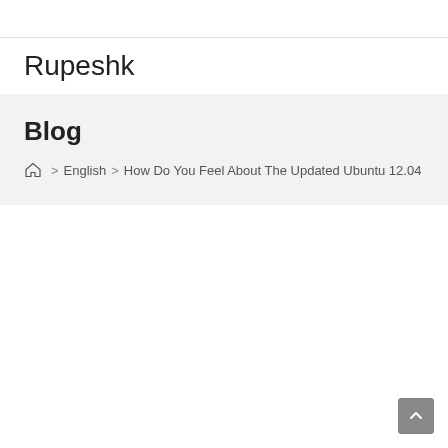Rupeshk
Blog
Home > English > How Do You Feel About The Updated Ubuntu 12.04 L